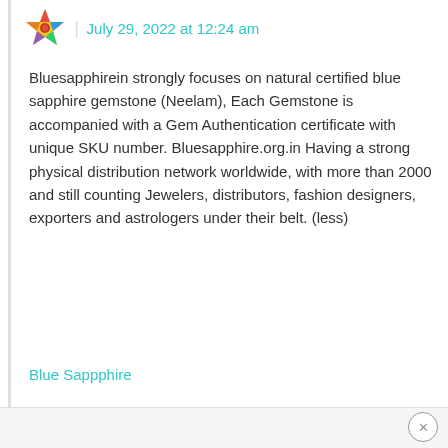July 29, 2022 at 12:24 am
Bluesapphirein strongly focuses on natural certified blue sapphire gemstone (Neelam), Each Gemstone is accompanied with a Gem Authentication certificate with unique SKU number. Bluesapphire.org.in Having a strong physical distribution network worldwide, with more than 2000 and still counting Jewelers, distributors, fashion designers, exporters and astrologers under their belt. (less)
Blue Sappphire
Reply